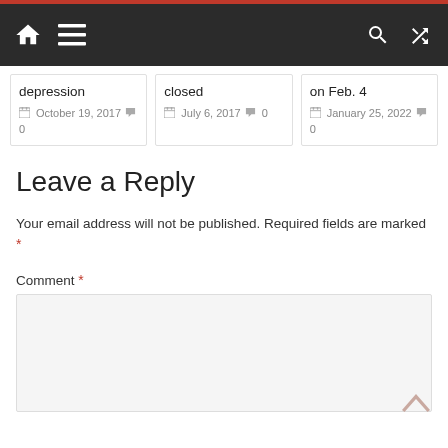Navigation bar with home, menu, search, and shuffle icons
depression | October 19, 2017 | 0 comments
closed | July 6, 2017 | 0 comments
on Feb. 4 | January 25, 2022 | 0 comments
Leave a Reply
Your email address will not be published. Required fields are marked *
Comment *